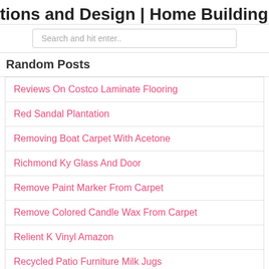tions and Design | Home Building | H
Search and hit enter..
Random Posts
Reviews On Costco Laminate Flooring
Red Sandal Plantation
Removing Boat Carpet With Acetone
Richmond Ky Glass And Door
Remove Paint Marker From Carpet
Remove Colored Candle Wax From Carpet
Relient K Vinyl Amazon
Recycled Patio Furniture Milk Jugs
Rev Roofing Regency Park